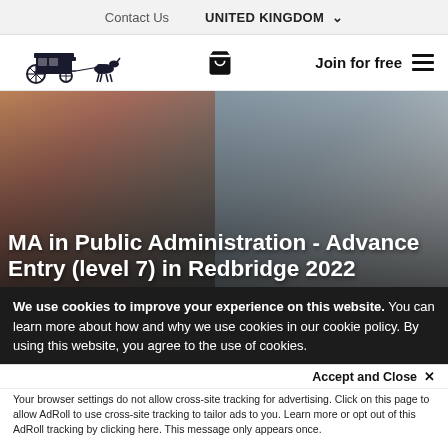Contact Us    UNITED KINGDOM
[Figure (logo): Stagecoach horse and carriage logo with cart icon and Join for free navigation]
[Figure (photo): Young woman smiling, seated near a window, with overlaid text: MA in Public Administration - Advance Entry (level 7) in Redbridge 2022]
MA in Public Administration - Advance Entry (level 7) in Redbridge 2022
We use cookies to improve your experience on this website. You can learn more about how and why we use cookies in our cookie policy. By using this website, you agree to the use of cookies.
Accept and Close ✕
Your browser settings do not allow cross-site tracking for advertising. Click on this page to allow AdRoll to use cross-site tracking to tailor ads to you. Learn more or opt out of this AdRoll tracking by clicking here. This message only appears once.